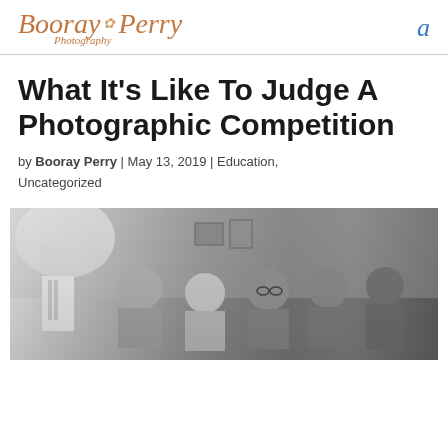[Figure (logo): Booray Perry Photography logo in cursive brown/copper script with a small flower emblem]
a
What It's Like To Judge A Photographic Competition
by Booray Perry | May 13, 2019 | Education, Uncategorized
[Figure (photo): Black and white photograph of people seated and standing in a room, appearing to be judging or viewing a photography competition]